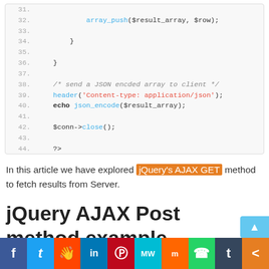[Figure (screenshot): Code block showing PHP lines 31-44 with syntax highlighting: array_push, closing braces, JSON comment, header and echo statements, $conn->close(), and PHP closing tag]
In this article we have explored jQuery's AJAX GET method to fetch results from Server.
jQuery AJAX Post  method example
[Figure (infographic): Social share bar with buttons for Facebook, Twitter, Reddit, LinkedIn, Pinterest, MeWe, Mix, WhatsApp, Tumblr, and Share]